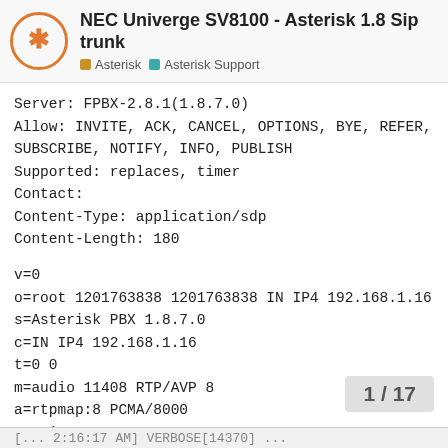NEC Univerge SV8100 - Asterisk 1.8 Sip trunk | Asterisk | Asterisk Support
Server: FPBX-2.8.1(1.8.7.0)
Allow: INVITE, ACK, CANCEL, OPTIONS, BYE, REFER, SUBSCRIBE, NOTIFY, INFO, PUBLISH
Supported: replaces, timer
Contact:
Content-Type: application/sdp
Content-Length: 180
v=0
o=root 1201763838 1201763838 IN IP4 192.168.1.16
s=Asterisk PBX 1.8.7.0
c=IN IP4 192.168.1.16
t=0 0
m=audio 11408 RTP/AVP 8
a=rtpmap:8 PCMA/8000
a=ptime:20
a=sendrecv